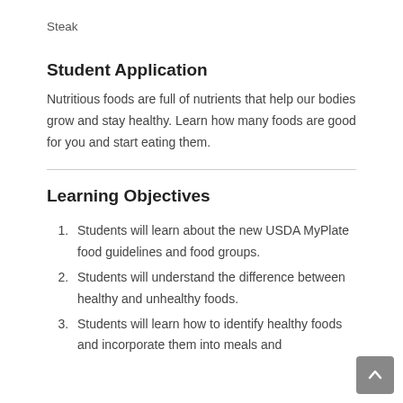Steak
Student Application
Nutritious foods are full of nutrients that help our bodies grow and stay healthy. Learn how many foods are good for you and start eating them.
Learning Objectives
Students will learn about the new USDA MyPlate food guidelines and food groups.
Students will understand the difference between healthy and unhealthy foods.
Students will learn how to identify healthy foods and incorporate them into meals and